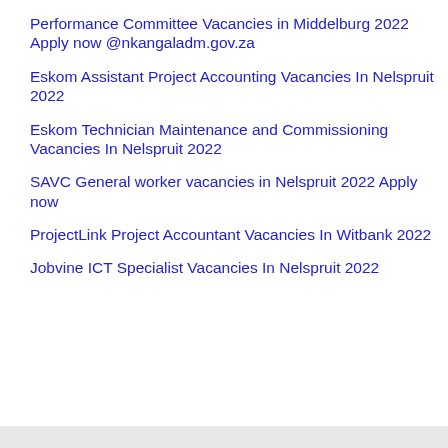Performance Committee Vacancies in Middelburg 2022 Apply now @nkangaladm.gov.za
Eskom Assistant Project Accounting Vacancies In Nelspruit 2022
Eskom Technician Maintenance and Commissioning Vacancies In Nelspruit 2022
SAVC General worker vacancies in Nelspruit 2022 Apply now
ProjectLink Project Accountant Vacancies In Witbank 2022
Jobvine ICT Specialist Vacancies In Nelspruit 2022